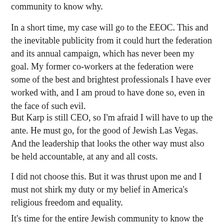community to know why.
In a short time, my case will go to the EEOC. This and the inevitable publicity from it could hurt the federation and its annual campaign, which has never been my goal. My former co-workers at the federation were some of the best and brightest professionals I have ever worked with, and I am proud to have done so, even in the face of such evil.
But Karp is still CEO, so I'm afraid I will have to up the ante. He must go, for the good of Jewish Las Vegas. And the leadership that looks the other way must also be held accountable, at any and all costs.
I did not choose this. But it was thrust upon me and I must not shirk my duty or my belief in America's religious freedom and equality.
It's time for the entire Jewish community to know the truth